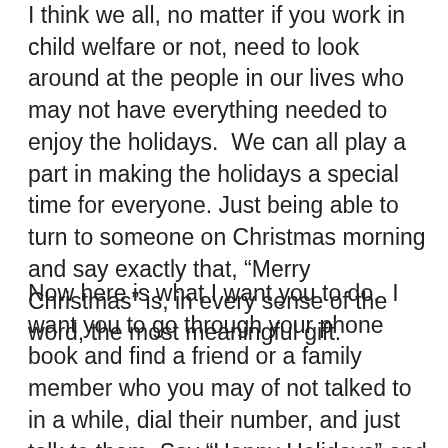I think we all, no matter if you work in child welfare or not, need to look around at the people in our lives who may not have everything needed to enjoy the holidays.  We can all play a part in making the holidays a special time for everyone. Just being able to turn to someone on Christmas morning and say exactly that, “Merry Christmas” is, in every sense of the word, the most meaningful gift.
Now here is what I want you to do.  I want you to go through your phone book and find a friend or a family member who you may of not talked to in a while, dial their number, and just talk to them. Say “Happy Holidays” and just listen to them.  Again, having the ability to talk to someone or possessing the feeling that someone really cares about you and loves you really brings back the